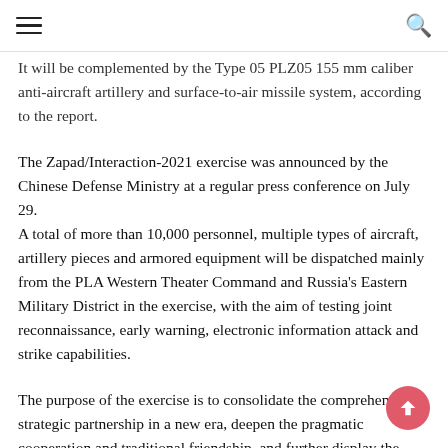☰ [hamburger menu] | [search icon]
It will be complemented by the Type 05 PLZ05 155 mm caliber anti-aircraft artillery and surface-to-air missile system, according to the report.
The Zapad/Interaction-2021 exercise was announced by the Chinese Defense Ministry at a regular press conference on July 29. A total of more than 10,000 personnel, multiple types of aircraft, artillery pieces and armored equipment will be dispatched mainly from the PLA Western Theater Command and Russia's Eastern Military District in the exercise, with the aim of testing joint reconnaissance, early warning, electronic information attack and strike capabilities.
The purpose of the exercise is to consolidate the comprehensive strategic partnership in a new era, deepen the pragmatic cooperation and traditional friendship, and further display the determination and ability of both sides to combat terrorist forces and maintain regional peace and security, the Chinese Defense Ministry said.
It is the first time that China will host a joint drill with another country